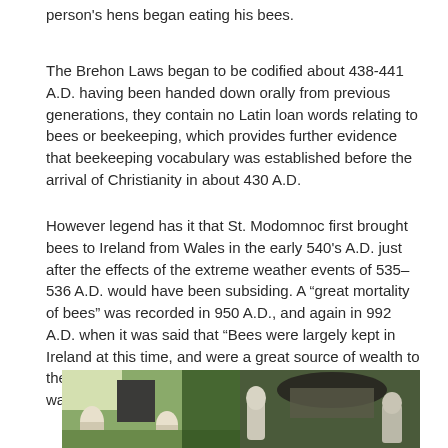person's hens began eating his bees.
The Brehon Laws began to be codified about 438-441 A.D. having been handed down orally from previous generations, they contain no Latin loan words relating to bees or beekeeping, which provides further evidence that beekeeping vocabulary was established before the arrival of Christianity in about 430 A.D.
However legend has it that St. Modomnoc first brought bees to Ireland from Wales in the early 540's A.D. just after the effects of the extreme weather events of 535–536 A.D. would have been subsiding. A “great mortality of bees” was recorded in 950 A.D., and again in 992 A.D. when it was said that “Bees were largely kept in Ireland at this time, and were a great source of wealth to the people”. In 1443 A.D “the third epizooty of bees” was recorded.
[Figure (photo): Photograph of beekeepers with hives in a field surrounded by trees, two panels stitched together showing people in beekeeping gear and traditional skep/box hives.]